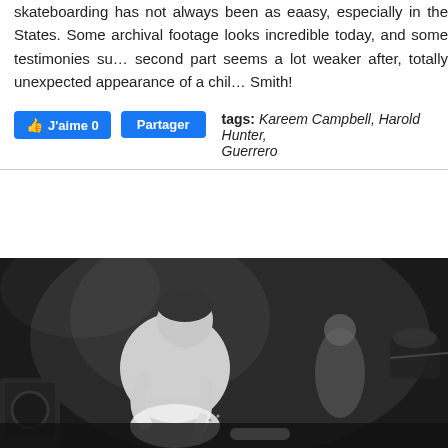skateboarding has not always been as easy, especially in the States. Some archival footage looks incredible today, and some testimonies su… second part seems a lot weaker after, totally unexpected appearance of a chil… Smith!
tags: Kareem Campbell, Harold Hunter, Guerrero
[Figure (photo): Black and white photo of a musician (guitarist) in a white t-shirt bending over a white electric guitar on stage, with another person and drum kit visible in the background.]